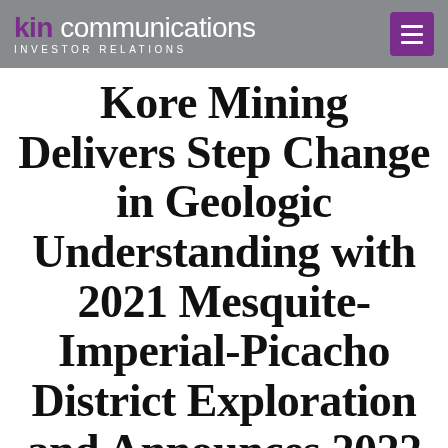kin communications INVESTOR RELATIONS
Kore Mining Delivers Step Change in Geologic Understanding with 2021 Mesquite-Imperial-Picacho District Exploration and Announces 2022